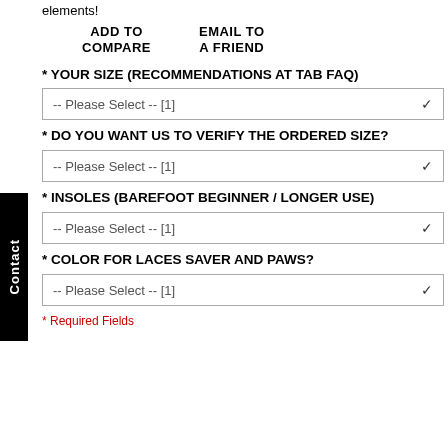elements!
ADD TO COMPARE
EMAIL TO A FRIEND
* YOUR SIZE (RECOMMENDATIONS AT TAB FAQ)
-- Please Select -- [1]
* DO YOU WANT US TO VERIFY THE ORDERED SIZE?
-- Please Select -- [1]
* INSOLES (BAREFOOT BEGINNER / LONGER USE)
-- Please Select -- [1]
* COLOR FOR LACES SAVER AND PAWS?
-- Please Select -- [1]
* Required Fields